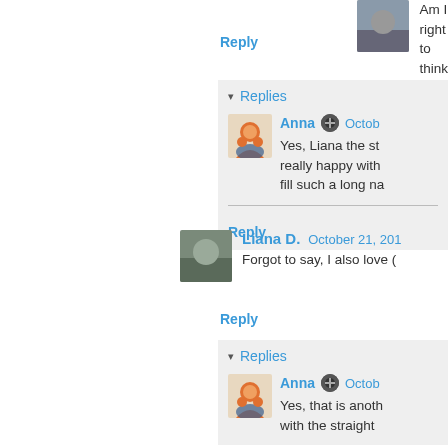Am I right to think the ste
Reply
▾ Replies
Anna  Octob
Yes, Liana the st really happy with fill such a long na
Reply
Liana D.  October 21, 201
Forgot to say, I also love (
Reply
▾ Replies
Anna  Octob
Yes, that is anoth with the straight